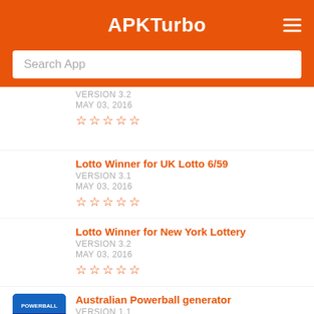APKTurbo
Search App
VERSION 3.2
MAY 03, 2016
☆☆☆☆☆
Lotto Winner for UK Lotto 6/59
VERSION 3.1
MAY 03, 2016
☆☆☆☆☆
Lotto Winner for New York Lottery
VERSION 3.2
MAY 03, 2016
☆☆☆☆☆
Australian Powerball generator
VERSION 1.1
OCTOBER 08, 2016
☆☆☆☆☆